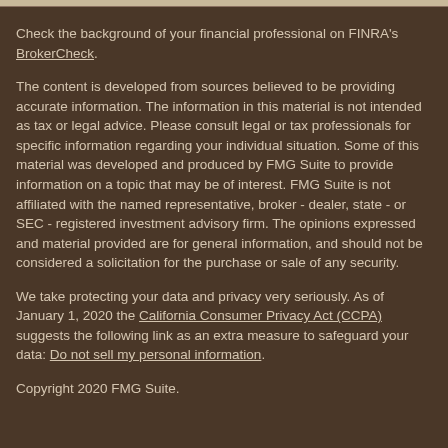Check the background of your financial professional on FINRA's BrokerCheck.
The content is developed from sources believed to be providing accurate information. The information in this material is not intended as tax or legal advice. Please consult legal or tax professionals for specific information regarding your individual situation. Some of this material was developed and produced by FMG Suite to provide information on a topic that may be of interest. FMG Suite is not affiliated with the named representative, broker - dealer, state - or SEC - registered investment advisory firm. The opinions expressed and material provided are for general information, and should not be considered a solicitation for the purchase or sale of any security.
We take protecting your data and privacy very seriously. As of January 1, 2020 the California Consumer Privacy Act (CCPA) suggests the following link as an extra measure to safeguard your data: Do not sell my personal information.
Copyright 2020 FMG Suite.